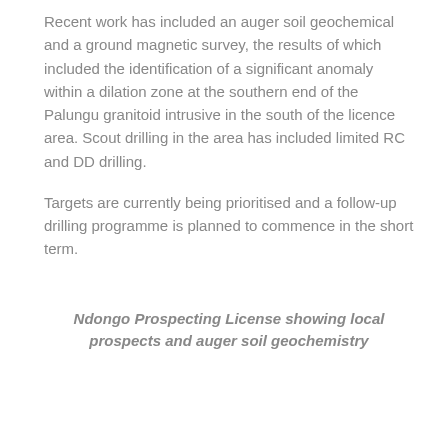Recent work has included an auger soil geochemical and a ground magnetic survey, the results of which included the identification of a significant anomaly within a dilation zone at the southern end of the Palungu granitoid intrusive in the south of the licence area. Scout drilling in the area has included limited RC and DD drilling.
Targets are currently being prioritised and a follow-up drilling programme is planned to commence in the short term.
Ndongo Prospecting License showing local prospects and auger soil geochemistry